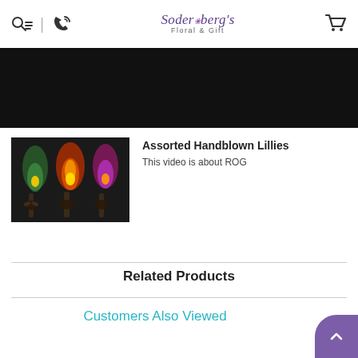Soderberg's Floral & Gift — navigation header with search, phone, logo, and cart icons
[Figure (screenshot): Black banner/video player area at top of page content]
[Figure (photo): Thumbnail of handblown glass lily lamps with butterfly bases, glowing orange/red/green, dark background]
Assorted Handblown Lillies
This video is about ROG
Related Products
Customers Also Viewed